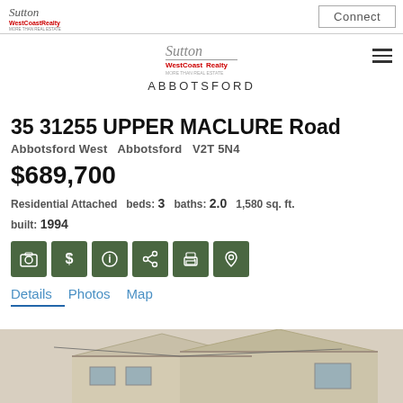Sutton WestCoast Realty | Connect
[Figure (logo): Sutton WestCoast Realty logo centered with ABBOTSFORD text below]
35 31255 UPPER MACLURE Road
Abbotsford West   Abbotsford   V2T 5N4
$689,700
Residential Attached  beds: 3  baths: 2.0  1,580 sq. ft.  built: 1994
[Figure (infographic): Six green icon buttons: camera, dollar, info, share, print, location pin]
Details  Photos  Map
[Figure (photo): Exterior photo of residential property showing roofline and siding]